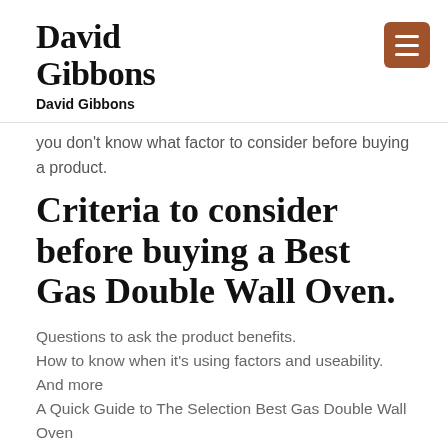David Gibbons
David Gibbons
you don't know what factor to consider before buying a product.
Criteria to consider before buying a Best Gas Double Wall Oven.
Questions to ask the product benefits.
How to know when it's using factors and useability.
And more
A Quick Guide to The Selection Best Gas Double Wall Oven
When you read this article to know what we have…